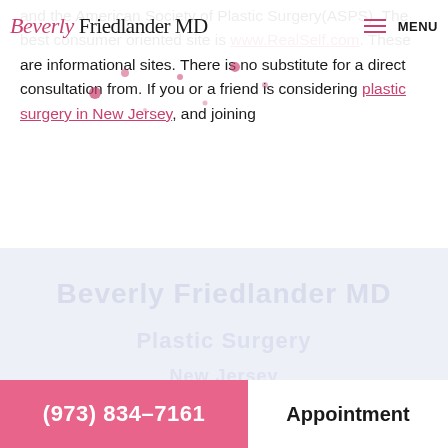Beverly Friedlander MD | MENU
and the American Society of Plastic Surgery(ASPS). The best consumer oriented site is www.RealSelf.com. These are informational sites. There is no substitute for a direct consultation from. If you or a friend is considering plastic surgery in New Jersey, and joining the millions of men and women who have made the move, please contact Dr. Friedlander at (973) 834-7161 to set up your personal consultation and learn more about her and her practice.
[Figure (screenshot): Footer section with faded background text and bottom bar with phone number button (973) 834-7161 and Appointment button]